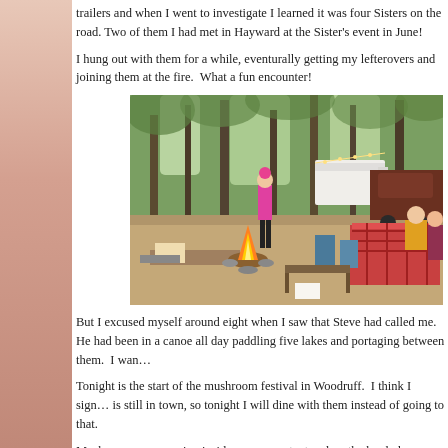trailers and when I went to investigate I learned it was four Sisters on the road. Two of them I had met in Hayward at the Sister's event in June!
I hung out with them for a while, eventurally getting my lefterovers and joining them at the fire.  What a fun encounter!
[Figure (photo): Outdoor campsite scene showing women gathered around a campfire in a wooded area. One woman in pink top and black pants stands near the fire, another person reclines in a chair in the foreground, and two more people sit at a picnic table covered with a red checkered tablecloth on the right. A white trailer and dark SUV are visible in the background among trees with string lights.]
But I excused myself around eight when I saw that Steve had called me. He had been in a canoe all day paddling five lakes and portaging between them.  I wan...
Tonight is the start of the mushroom festival in Woodruff.  I think I sign... is still in town, so tonight I will dine with them instead of going to that.
Mushrooms are growing inside my screen tent and on the hard pl...